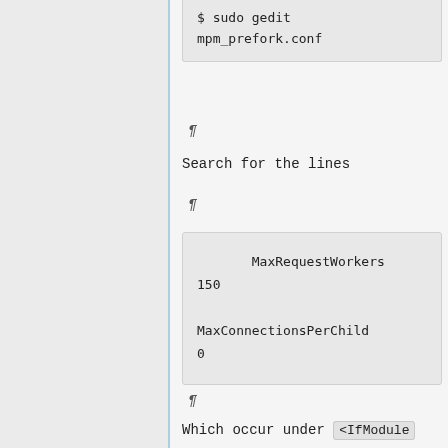$ sudo gedit mpm_prefork.conf
Search for the lines
MaxRequestWorkers 150

MaxConnectionsPerChild 0
Which occur under <IfModule